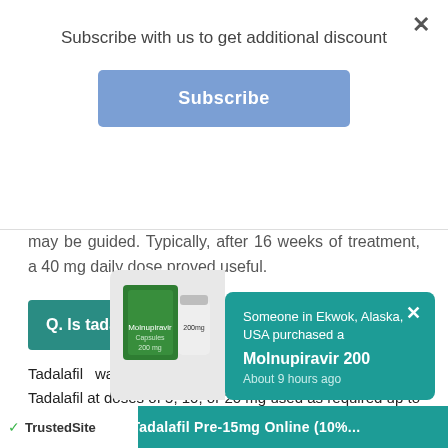Subscribe with us to get additional discount
Subscribe
may be guided. Typically, after 16 weeks of treatment, a 40 mg daily dose proved useful.
Q. Is tadalafil safe to take?
Tadalafil was safe and well-tolerated. CONCLUSION: Tadalafil at doses of 5, 10, or 20 mg used as required up to once daily for 18 to 24 months was safe and well-tolerated. These decisions support the long-term use of tadalafil for erectile dysfunction.
Someone in Ekwok, Alaska, USA purchased a Molnupiravir 200 About 9 hours ago
TrustedSite